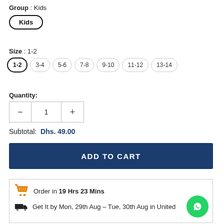Group : Kids
Kids
Size : 1-2
1-2   3-4   5-6   7-8   9-10   11-12   13-14
Quantity:
Subtotal:  Dhs. 49.00
ADD TO CART
Order in 19 Hrs 23 Mins
Get It by Mon, 29th Aug – Tue, 30th Aug in United